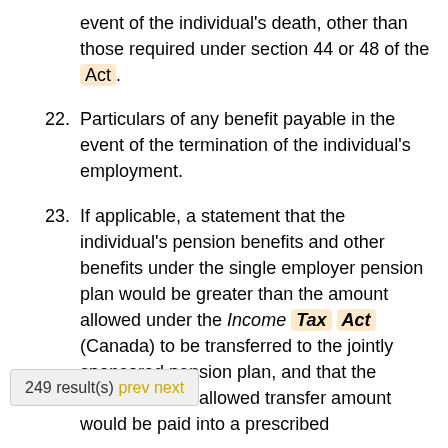event of the individual's death, other than those required under section 44 or 48 of the Act.
22. Particulars of any benefit payable in the event of the termination of the individual's employment.
23. If applicable, a statement that the individual's pension benefits and other benefits under the single employer pension plan would be greater than the amount allowed under the Income Tax Act (Canada) to be transferred to the jointly sponsored pension plan, and that the [amount that] exceeds the allowed transfer amount would be paid into a prescribed
249 result(s) prev next